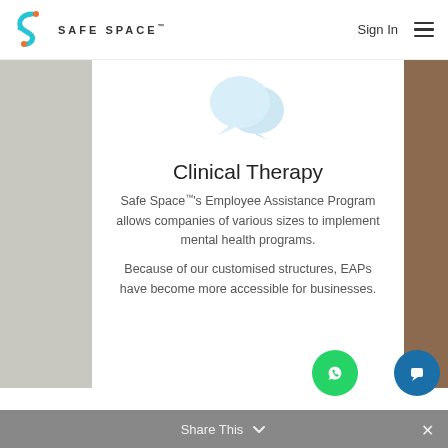SAFE SPACE™   Sign In
[Figure (illustration): Two overlapping speech bubble icons in light blue, representing chat or therapy communication]
Clinical Therapy
Safe Space™'s Employee Assistance Program allows companies of various sizes to implement mental health programs.
Because of our customised structures, EAPs have become more accessible for businesses.
Share This